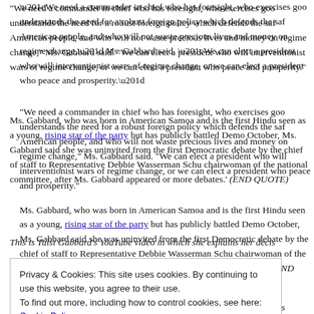“We need a commander in chief who has foresight, who exercises goo understands the need for a robust foreign policy which defends the saf American people, and who will not waste precious lives and money on regime change,” Ms. Gabbard said. “We can elect a president who will interventionist wars of regime change, or we can elect a president who peace and prosperity.”
Ms. Gabbard, who was born in American Samoa and is the first Hindu seen as a young, rising star of the party but has publicly battled Demo October, Ms. Gabbard said she was uninvited from the first Democratic debate by the chief of staff to Representative Debbie Wasserman Schu chairwoman of the national committee, after Ms. Gabbard appeared or more debates.’ (END QUOTE)
This is Tulsi Gabbard’s YouTube video in which she explains her decis…
Privacy & Cookies: This site uses cookies. By continuing to use this website, you agree to their use.
To find out more, including how to control cookies, see here: Cookie Policy
Close and accept
[Figure (photo): Bottom strip showing a partial photo of a person]